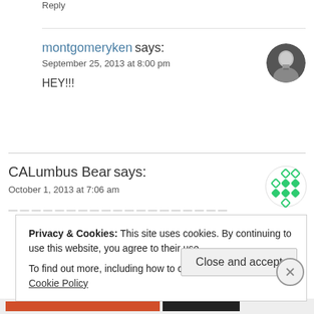Reply
montgomeryken says:
September 25, 2013 at 8:00 pm
HEY!!!
[Figure (photo): Black and white circular avatar photo of a man in a suit]
CALumbus Bear says:
October 1, 2013 at 7:06 am
[Figure (illustration): Circular green diamond/dot pattern avatar icon]
Privacy & Cookies: This site uses cookies. By continuing to use this website, you agree to their use.
To find out more, including how to control cookies, see here: Cookie Policy
Close and accept